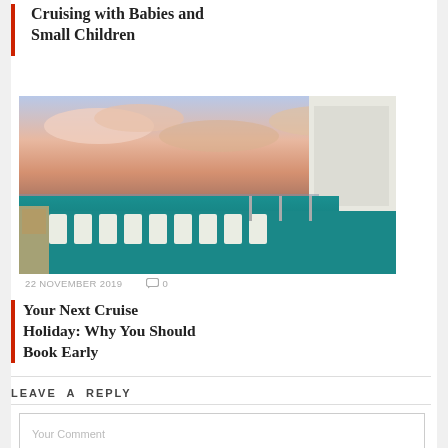Cruising with Babies and Small Children
[Figure (photo): Cruise ship deck with lounge chairs and teal carpet under a pink and blue sunset sky]
22 NOVEMBER 2019   0
Your Next Cruise Holiday: Why You Should Book Early
LEAVE A REPLY
Your Comment